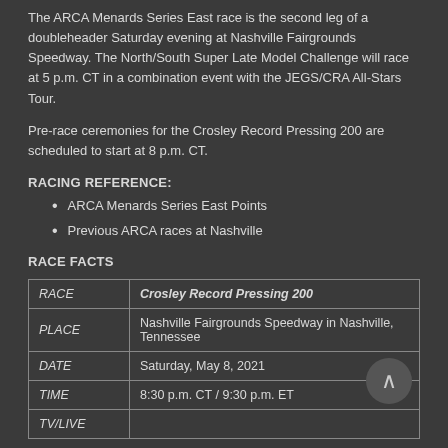The ARCA Menards Series East race is the second leg of a doubleheader Saturday evening at Nashville Fairgrounds Speedway. The North/South Super Late Model Challenge will race at 5 p.m. CT in a combination event with the JEGS/CRA All-Stars Tour.
Pre-race ceremonies for the Crosley Record Pressing 200 are scheduled to start at 8 p.m. CT.
RACING REFERENCE:
ARCA Menards Series East Points
Previous ARCA races at Nashville
RACE FACTS
|  |  |
| --- | --- |
| RACE | Crosley Record Pressing 200 |
| PLACE | Nashville Fairgrounds Speedway in Nashville, Tennessee |
| DATE | Saturday, May 8, 2021 |
| TIME | 8:30 p.m. CT / 9:30 p.m. ET |
| TV/LIVE |  |